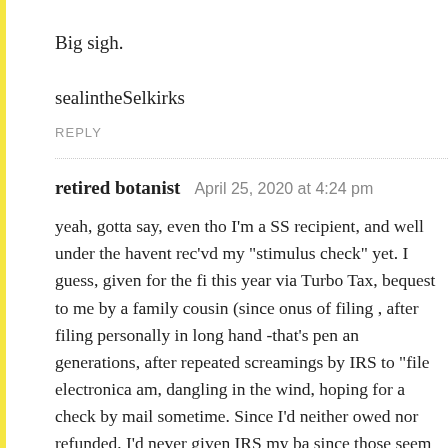Big sigh.
sealintheSelkirks
REPLY
retired botanist   April 25, 2020 at 4:24 pm
yeah, gotta say, even tho I’m a SS recipient, and well under the havent rec’vd my “stimulus check” yet. I guess, given for the fi this year via Turbo Tax, bequest to me by a family cousin (since onus of filing , after filing personally in long hand -that’s pen an generations, after repeated screamings by IRS to “file electronica am, dangling in the wind, hoping for a check by mail sometime. Since I’d neither owed nor refunded, I’d never given IRS my ba since those seem to have been hacked as well. So just add the T dysfunctional Govt agencies. Whaaaat? The Treasury can’t sear